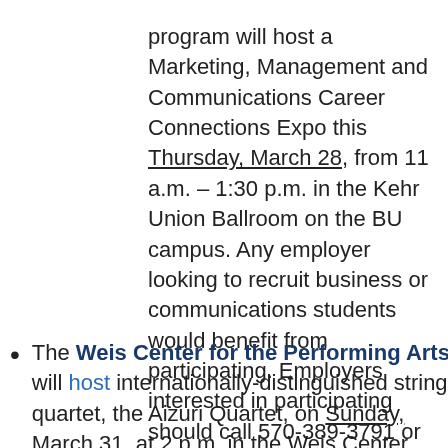program will host a Marketing, Management and Communications Career Connections Expo this Thursday, March 28, from 11 a.m. – 1:30 p.m. in the Kehr Union Ballroom on the BU campus. Any employer looking to recruit business or communications students would benefit from participating. Employers interested in participating should call 570-389-3791 or email.
The Weis Center for the Performing Arts will host internationally-distinguished string quartet, the Aizuri Quartet, on Sunday, March 31, at 2 p.m. in the Weis Center Atrium. The perform
[Figure (other): Box with caption 'The Aizuri Quartet']